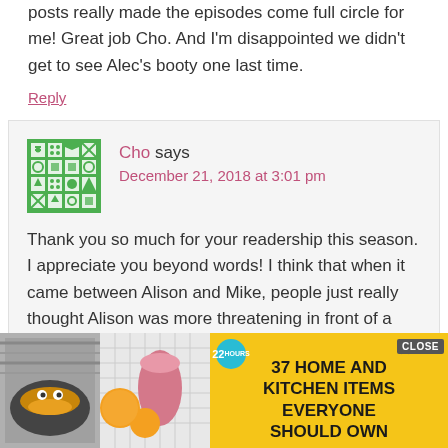posts really made the episodes come full circle for me! Great job Cho. And I'm disappointed we didn't get to see Alec's booty one last time.
Reply
Cho says
December 21, 2018 at 3:01 pm
Thank you so much for your readership this season. I appreciate you beyond words! I think that when it came between Alison and Mike, people just really thought Alison was more threatening in front of a jury. And judgin
[Figure (other): Advertisement banner: yellow background with food/kitchen images on left, text '37 HOME AND KITCHEN ITEMS EVERYONE SHOULD OWN', 22 badge, CLOSE button and X button visible]